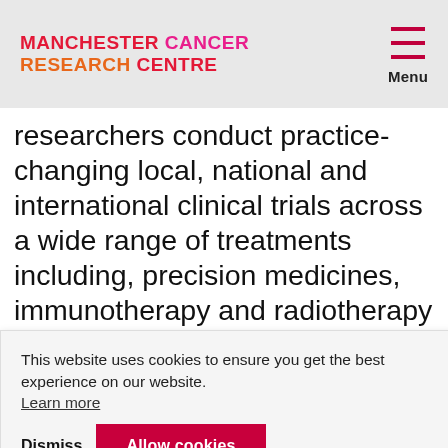MANCHESTER CANCER RESEARCH CENTRE — Menu
researchers conduct practice-changing local, national and international clinical trials across a wide range of treatments including, precision medicines, immunotherapy and radiotherapy alone or in combination.
This website uses cookies to ensure you get the best experience on our website. Learn more
stand and tissue samples blood donate ple of pioneering research is the use of liquid biopsies, a simple blood sample
Dismiss  Allow cookies